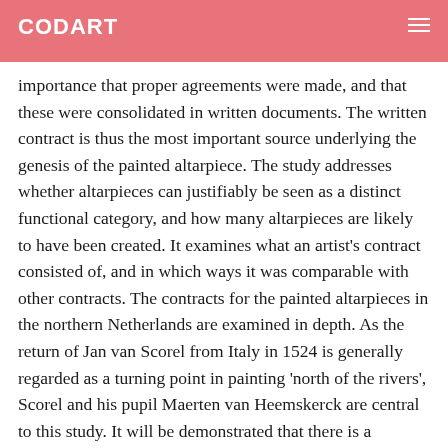CODART
sums of money these assignments involved, it was of great importance that proper agreements were made, and that these were consolidated in written documents. The written contract is thus the most important source underlying the genesis of the painted altarpiece. The study addresses whether altarpieces can justifiably be seen as a distinct functional category, and how many altarpieces are likely to have been created. It examines what an artist’s contract consisted of, and in which ways it was comparable with other contracts. The contracts for the painted altarpieces in the northern Netherlands are examined in depth. As the return of Jan van Scorel from Italy in 1524 is generally regarded as a turning point in painting ‘north of the rivers’, Scorel and his pupil Maerten van Heemskerck are central to this study. It will be demonstrated that there is a significant change in the relationship of both artists with their patrons – a